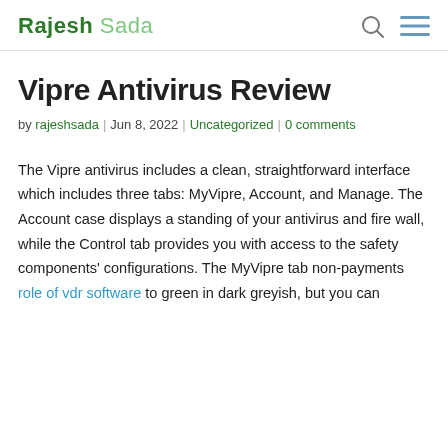Rajesh Sada
Vipre Antivirus Review
by rajeshsada | Jun 8, 2022 | Uncategorized | 0 comments
The Vipre antivirus includes a clean, straightforward interface which includes three tabs: MyVipre, Account, and Manage. The Account case displays a standing of your antivirus and fire wall, while the Control tab provides you with access to the safety components' configurations. The MyVipre tab non-payments role of vdr software to green in dark greyish, but you can